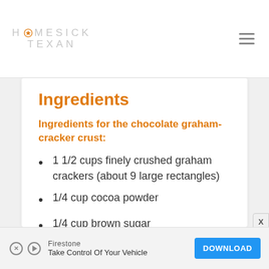HOMESICK TEXAN
Ingredients
Ingredients for the chocolate graham-cracker crust:
1 1/2 cups finely crushed graham crackers (about 9 large rectangles)
1/4 cup cocoa powder
1/4 cup brown sugar
1/4 teaspoon ground cinnamon